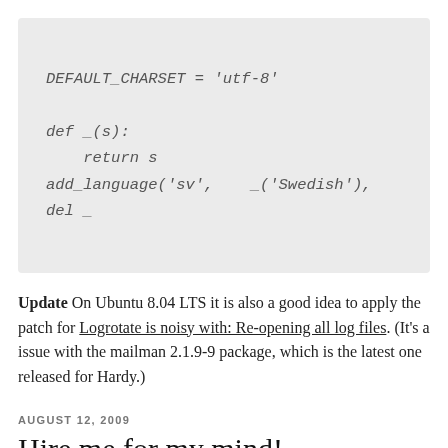[Figure (other): Code block with light grey background showing Python-like code: DEFAULT_CHARSET = 'utf-8', def _(s):, return s, add_language('sv', _('Swedish'),, del _]
Update On Ubuntu 8.04 LTS it is also a good idea to apply the patch for Logrotate is noisy with: Re-opening all log files. (It's a issue with the mailman 2.1.9-9 package, which is the latest one released for Hardy.)
AUGUST 12, 2009
Hire me for my mind!
Ward Cunningham tweeted a link to an ad for an Agile